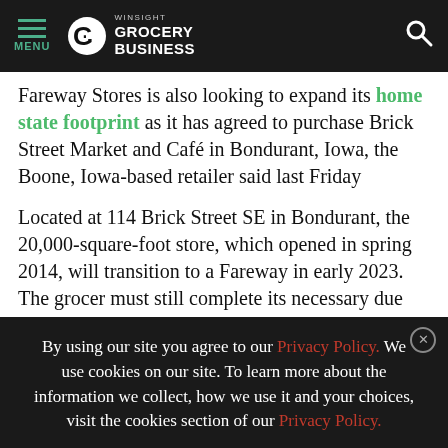MENU | Winsight Grocery Business
Fareway Stores is also looking to expand its home state footprint as it has agreed to purchase Brick Street Market and Café in Bondurant, Iowa, the Boone, Iowa-based retailer said last Friday
Located at 114 Brick Street SE in Bondurant, the 20,000-square-foot store, which opened in spring 2014, will transition to a Fareway in early 2023. The grocer must still complete its necessary due diligence before the
By using our site you agree to our Privacy Policy. We use cookies on our site. To learn more about the information we collect, how we use it and your choices, visit the cookies section of our Privacy Policy.